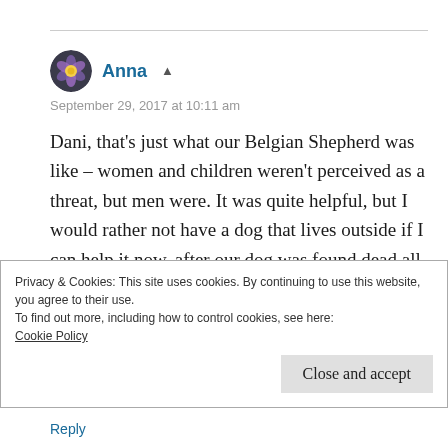Anna
September 29, 2017 at 10:11 am
Dani, that's just what our Belgian Shepherd was like – women and children weren't perceived as a threat, but men were. It was quite helpful, but I would rather not have a dog that lives outside if I can help it now, after our dog was found dead all of a sudden,
Privacy & Cookies: This site uses cookies. By continuing to use this website, you agree to their use.
To find out more, including how to control cookies, see here:
Cookie Policy
Close and accept
Reply